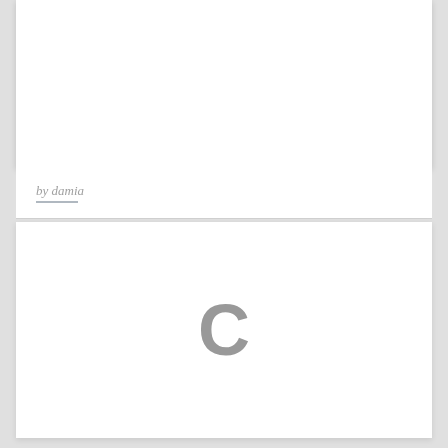[Figure (other): White card panel at top of page, blank content area]
by damia
[Figure (other): White card panel with a large gray letter C centered, appearing to be a loading spinner or placeholder icon]